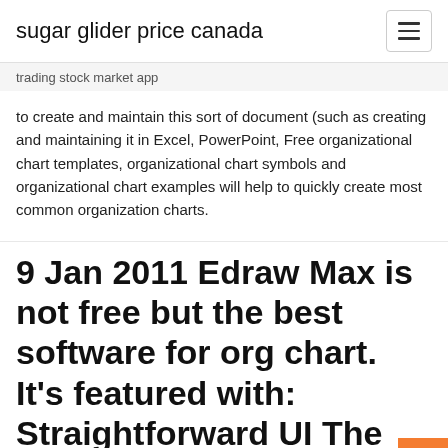sugar glider price canada
trading stock market app
to create and maintain this sort of document (such as creating and maintaining it in Excel, PowerPoint, Free organizational chart templates, organizational chart symbols and organizational chart examples will help to quickly create most common organization charts.
9 Jan 2011 Edraw Max is not free but the best software for org chart. It's featured with: Straightforward UI The users interface of Edraw Max resembles Microsoft